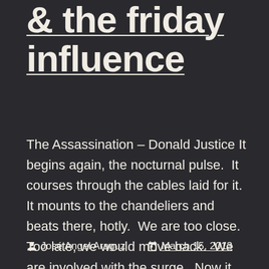& the friday influence
The Assassination – Donald Justice It begins again, the nocturnal pulse.  It courses through the cables laid for it.  It mounts to the chandeliers and beats there, hotly.  We are too close. Too late, we would move back.  We are involved with the surge.  Now it bursts. Now it has been announced.  Now it is [...]
José Angel Araguz   March 15, 2013